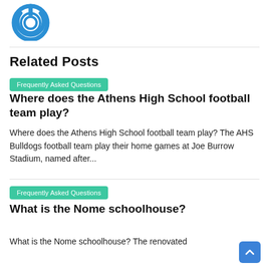[Figure (logo): Blue circular power button icon logo]
Related Posts
Frequently Asked Questions
Where does the Athens High School football team play?
Where does the Athens High School football team play? The AHS Bulldogs football team play their home games at Joe Burrow Stadium, named after...
Frequently Asked Questions
What is the Nome schoolhouse?
What is the Nome schoolhouse? The renovated